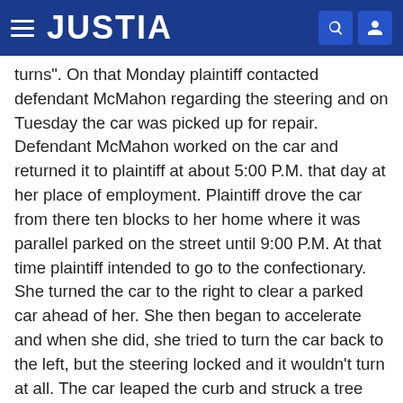JUSTIA
turns". On that Monday plaintiff contacted defendant McMahon regarding the steering and on Tuesday the car was picked up for repair. Defendant McMahon worked on the car and returned it to plaintiff at about 5:00 P.M. that day at her place of employment. Plaintiff drove the car from there ten blocks to her home where it was parallel parked on the street until 9:00 P.M. At that time plaintiff intended to go to the confectionary. She turned the car to the right to clear a parked car ahead of her. She then began to accelerate and when she did, she tried to turn the car back to the left, but the steering locked and it wouldn't turn at all. The car leaped the curb and struck a tree causing severe injury to the plaintiff. The car was then four days old and had been returned to her after the steering repair only a few hours before. It had been driven only ten blocks subsequent to that repair. Certain other facts will be